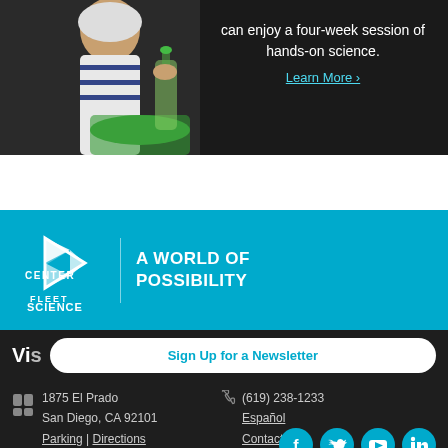[Figure (photo): Child doing hands-on science experiment with a green bottle and green bucket, dark background with text overlay]
can enjoy a four-week session of hands-on science.
Learn More ›
[Figure (logo): Fleet Science Center logo with triangle geometric mark and tagline 'A World of Possibility' on cyan/blue background]
Sign Up for a Newsletter
Vi...
1875 El Prado
San Diego, CA 92101
Parking | Directions
(619) 238-1233
Español
Contact Us
[Figure (infographic): Social media icons: Facebook, Twitter, YouTube, LinkedIn in cyan circles]